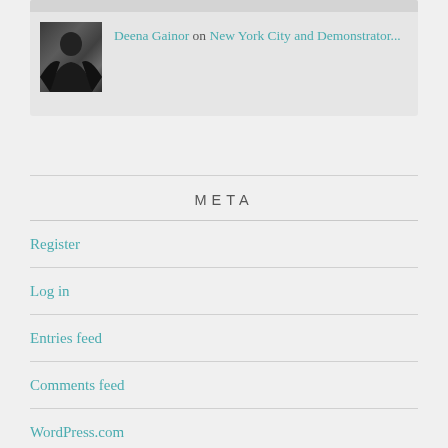[Figure (photo): Avatar/profile photo of a person in dark clothing, appearing to be looking down or to the side]
Deena Gainor on New York City and Demonstrator...
META
Register
Log in
Entries feed
Comments feed
WordPress.com